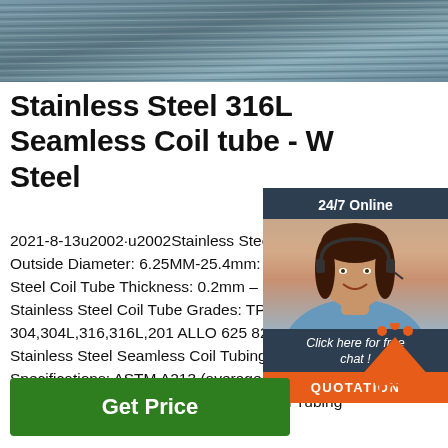[Figure (photo): Close-up photo of stainless steel coil tubes, showing multiple metallic tubes arranged together with a grey-blue metallic finish]
Stainless Steel 316L Seamless Coil tube - W Steel
2021-8-13u2002·u2002Stainless Steel C Outside Diameter: 6.25MM-25.4mm: Sta Steel Coil Tube Thickness: 0.2mm – 2m Stainless Steel Coil Tube Grades: TP – 304,304L,316,316L,201 ALLO 625 825 2 Stainless Steel Seamless Coil Tubing Specifications: ASTM A213 (average wall) and ASTM A269: Stainless Steel Welded Coil Tubing Specifications: ASTM ...
[Figure (other): 24/7 Online chat widget with a customer service representative photo, 'Click here for free chat!' text, and QUOTATION button]
[Figure (other): TOP icon with orange triangle and dots]
Get Price